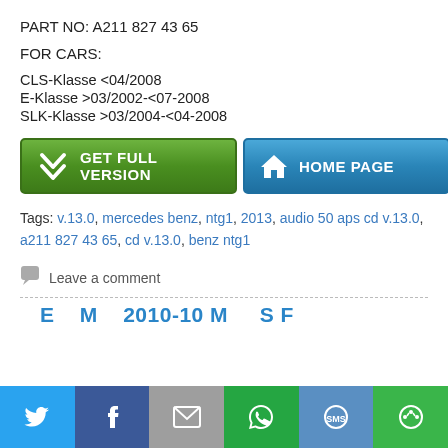PART NO: A211 827 43 65
FOR CARS:
CLS-Klasse <04/2008
E-Klasse >03/2002-<07-2008
SLK-Klasse >03/2004-<04-2008
[Figure (infographic): Two buttons: green GET FULL VERSION button with chevron icon, and blue HOME PAGE button with house icon]
Tags: v.13.0, mercedes benz, ntg1, 2013, audio 50 aps cd v.13.0, a211 827 43 65, cd v.13.0, benz ntg1
Leave a comment
[Figure (infographic): Social sharing bar at bottom with Twitter, Facebook, Email, WhatsApp, SMS, and other share icons]